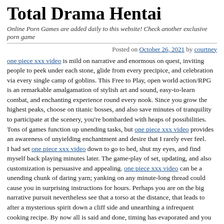Total Drama Hentai
Online Porn Games are added daily to this website! Check another exclusive porn game
Posted on October 26, 2021 by courtney
one piece xxx video is mild on narrative and enormous on quest, inviting people to peek under each stone, glide from every precipice, and celebration via every single camp of goblins. This Free to Play, open world action/RPG is an remarkable amalgamation of stylish art and sound, easy-to-learn combat, and enchanting experience round every nook. Since you grow the highest peaks, choose on titanic bosses, and also save minutes of tranquility to participate at the scenery, you're bombarded with heaps of possibilities. Tons of games function up unending tasks, but one piece xxx video provides an awareness of unyielding enchantment and desire that I rarely ever feel.
I had set one piece xxx video down to go to bed, shut my eyes, and find myself back playing minutes later. The game-play of set, updating, and also customization is persuasive and appealing. one piece xxx video can be a unending chunk of daring yarn; yanking on any minute-long thread could cause you in surprising instructions for hours. Perhaps you are on the big narrative pursuit nevertheless see that a torso at the distance, that leads to after a mysterious spirit down a cliff side and unearthing a infrequent cooking recipe. By now all is said and done, timing has evaporated and you forgot the reason you had been in the region while in the very first spot. That is fine, though, because you resolved a crane puzzle that delivered you towering through the rancid atmosphere, rescued some travelers trapped in amber, and struggled a lumbering mech for several spiffy new loot. The most important pursuit is there, but it is a struggle to remain dedicated to this because you conduct, glide, and also scale. This world is an unparalleled beauty that hypnotizes and enthralls.
Dialogue and story are the weakest regions of the adventure. It really is entirely fine to jump through many of the perfunctory dialog because you hit on the core quest chains to uncover certain areas and chef experiences. The actual story here is made by your journey